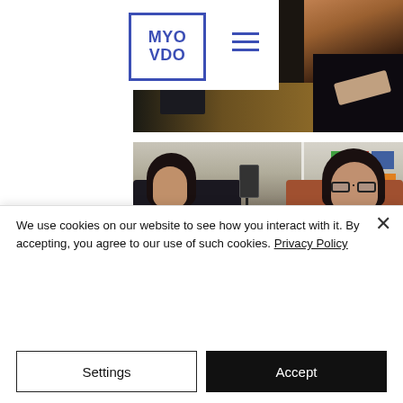[Figure (photo): Website screenshot showing MYO VDO logo in blue bordered box, hamburger menu icon, and partial photo of person with reddish-brown hair at a desk with laptop]
[Figure (photo): Photo of two people sitting in a room with bookshelves, a camera on tripod between them, one person on left with dark hair wearing black, one person on right with dark bob haircut and glasses]
We use cookies on our website to see how you interact with it. By accepting, you agree to our use of such cookies. Privacy Policy
Settings
Accept